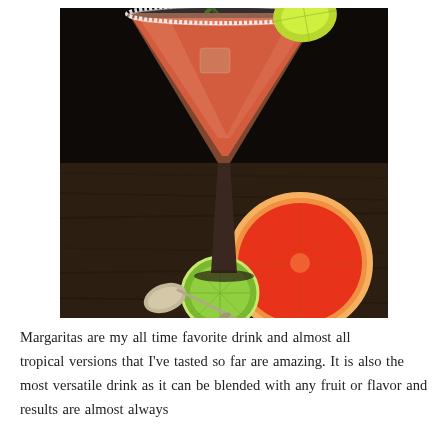[Figure (photo): A grapefruit margarita in a salt-rimmed martini glass with a rosemary sprig and lime wedge garnish, set on a dark wooden surface alongside a halved grapefruit, a lime half, and a small silver spoon.]
Margaritas are my all time favorite drink and almost all tropical versions that I've tasted so far are amazing. It is also the most versatile drink as it can be blended with any fruit or flavor and results are almost always